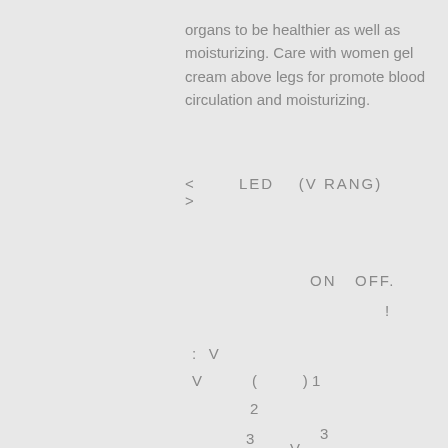organs to be healthier as well as moisturizing. Care with women gel cream above legs for promote blood circulation and moisturizing.
< LED (V RANG) >
ON OFF.
!
: V
V ( ) 1
2
3
3
V